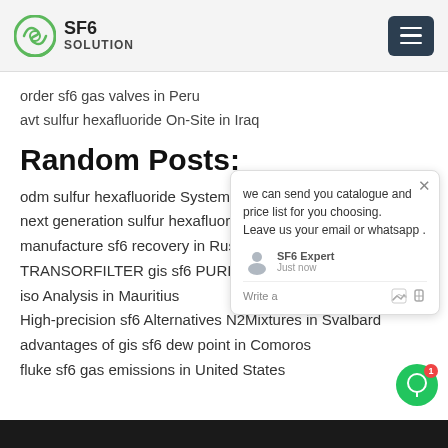SF6 SOLUTION
order sf6 gas valves in Peru
avt sulfur hexafluoride On-Site in Iraq
Random Posts:
odm sulfur hexafluoride System in Vietnam
next generation sulfur hexafluoride System a…
manufacture sf6 recovery in Russia
TRANSORFILTER gis sf6 PURITY ANALYSIS in Macedonia
iso Analysis in Mauritius
High-precision sf6 Alternatives N2Mixtures in Svalbard
advantages of gis sf6 dew point in Comoros
fluke sf6 gas emissions in United States
[Figure (other): Chat popup overlay: 'we can send you catalogue and price list for you choosing. Leave us your email or whatsapp.' with SF6 Expert avatar and just now timestamp, plus write input area with like and attachment icons.]